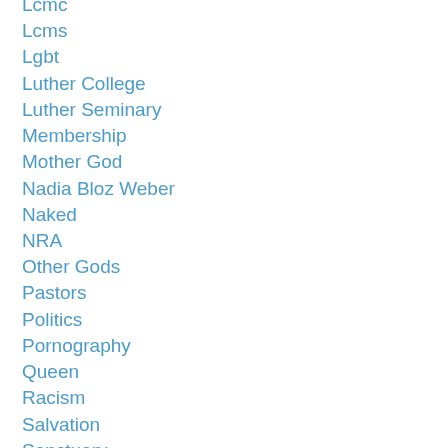Lcmc
Lcms
Lgbt
Luther College
Luther Seminary
Membership
Mother God
Nadia Bloz Weber
Naked
NRA
Other Gods
Pastors
Politics
Pornography
Queen
Racism
Salvation
Sanctuary
Synod
The Bible
The Resurrection